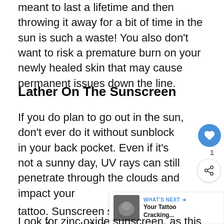meant to last a lifetime and then throwing it away for a bit of time in the sun is such a waste! You also don't want to risk a premature burn on your newly healed skin that may cause permanent issues down the line.
Lather On The Sunscreen
If you do plan to go out in the sun, don't ever do it without sunblock in your back pocket. Even if it's not a sunny day, UV rays can still penetrate through the clouds and impact your tattoo. Sunscreen should become a part of your daily tattoo routine for general skin health as well as for the preservation of your tattoo.
Look for zinc oxide sunscreen, as this acts like